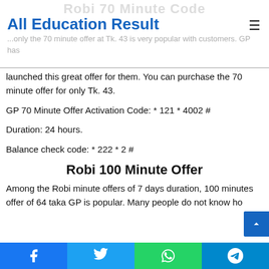Robi 70 Minute Code
All Education Result
...only the 70 minute offer at Tk. 43 is very popular with customers. GP has launched this great offer for them. You can purchase the 70 minute offer for only Tk. 43.
GP 70 Minute Offer Activation Code: * 121 * 4002 #
Duration: 24 hours.
Balance check code: * 222 * 2 #
Robi 100 Minute Offer
Among the Robi minute offers of 7 days duration, 100 minutes offer of 64 taka GP is popular. Many people do not know ho...